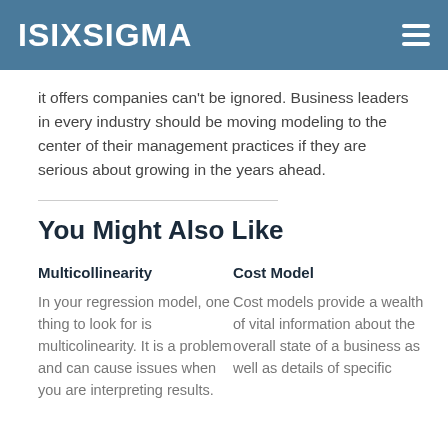ISIXSIGMA
it offers companies can't be ignored. Business leaders in every industry should be moving modeling to the center of their management practices if they are serious about growing in the years ahead.
You Might Also Like
Multicollinearity
In your regression model, one thing to look for is multicolinearity. It is a problem and can cause issues when you are interpreting results.
Cost Model
Cost models provide a wealth of vital information about the overall state of a business as well as details of specific